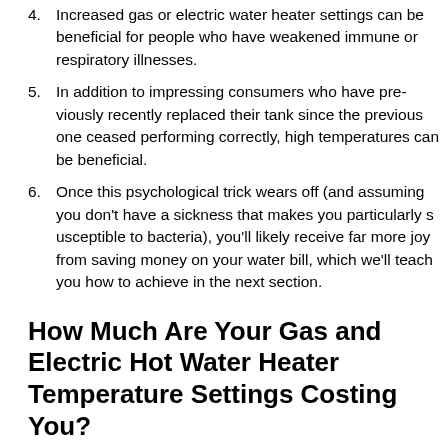4. Increased gas or electric water heater settings can be beneficial for people who have weakened immune or respiratory illnesses.
5. In addition to impressing consumers who have previously recently replaced their tank since the previous one ceased performing correctly, high temperatures can be beneficial.
6. Once this psychological trick wears off (and assuming you don't have a sickness that makes you particularly susceptible to bacteria), you'll likely receive far more joy from saving money on your water bill, which we'll teach you how to achieve in the next section.
How Much Are Your Gas and Electric Hot Water Heater Temperature Settings Costing You?